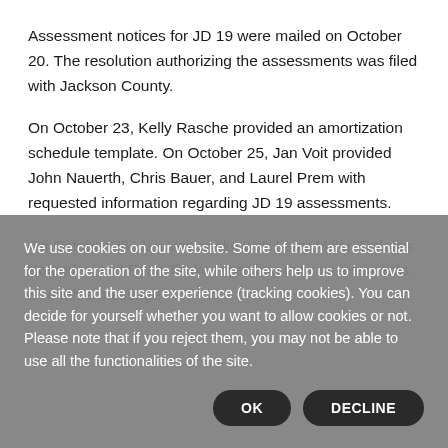Assessment notices for JD 19 were mailed on October 20. The resolution authorizing the assessments was filed with Jackson County.
On October 23, Kelly Rasche provided an amortization schedule template. On October 25, Jan Voit provided John Nauerth, Chris Bauer, and Laurel Prem with requested information regarding JD 19 assessments.
On October 26, Jan Voit spoke with Larry Miller, Delores Kolander, and Ryan Timko regarding their assessments. She left a message
We use cookies on our website. Some of them are essential for the operation of the site, while others help us to improve this site and the user experience (tracking cookies). You can decide for yourself whether you want to allow cookies or not. Please note that if you reject them, you may not be able to use all the functionalities of the site.